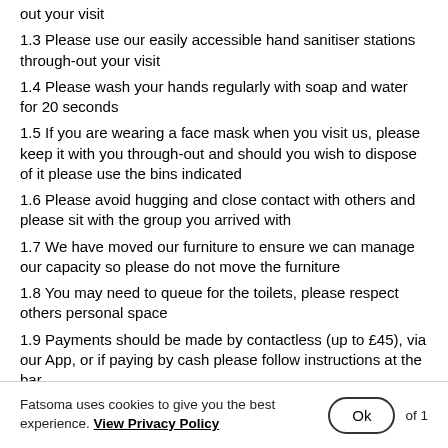out your visit
1.3 Please use our easily accessible hand sanitiser stations throughout your visit
1.4 Please wash your hands regularly with soap and water for 20 seconds
1.5 If you are wearing a face mask when you visit us, please keep it with you through-out and should you wish to dispose of it please use the bins indicated
1.6 Please avoid hugging and close contact with others and please sit with the group you arrived with
1.7 We have moved our furniture to ensure we can manage our capacity so please do not move the furniture
1.8 You may need to queue for the toilets, please respect others personal space
1.9 Payments should be made by contactless (up to £45), via our App, or if paying by cash please follow instructions at the bar
1.10 If you need extra assistance, we will aim to offer this where we can.  If you have special requirements, please speak to a member of
Fatsoma uses cookies to give you the best experience. View Privacy Policy  Ok  of 1